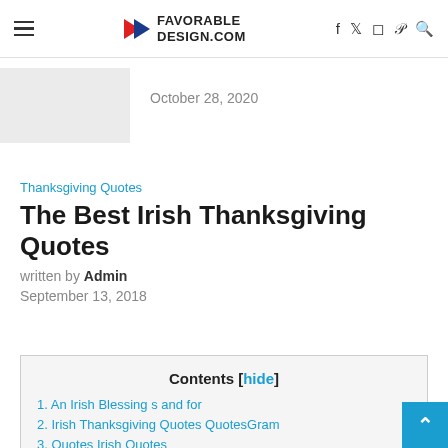FAVORABLEDESIGN.COM
October 28, 2020
Thanksgiving Quotes
The Best Irish Thanksgiving Quotes
written by Admin
September 13, 2018
Contents [hide]
1. An Irish Blessing s and for
2. Irish Thanksgiving Quotes QuotesGram
3. Quotes Irish Quotes